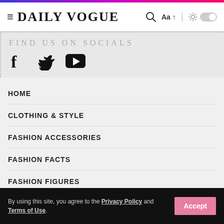DAILY VOGUE
FIND US ON SOCIALS
[Figure (illustration): Social media icons: Facebook (f), Twitter (bird), YouTube (play button)]
HOME
CLOTHING & STYLE
FASHION ACCESSORIES
FASHION FACTS
FASHION FIGURES
FASHION INDUSTRY
SHOPPING
By using this site, you agree to the Privacy Policy and Terms of Use.